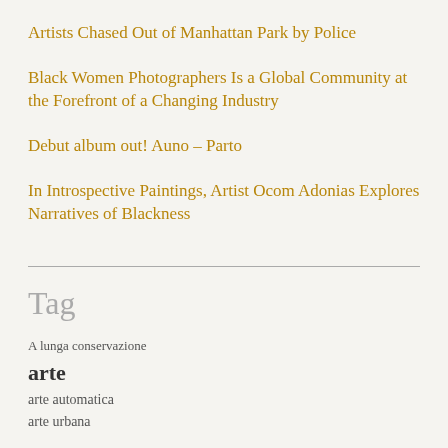Artists Chased Out of Manhattan Park by Police
Black Women Photographers Is a Global Community at the Forefront of a Changing Industry
Debut album out! Auno – Parto
In Introspective Paintings, Artist Ocom Adonias Explores Narratives of Blackness
Tag
A lunga conservazione
arte
arte automatica
arte urbana